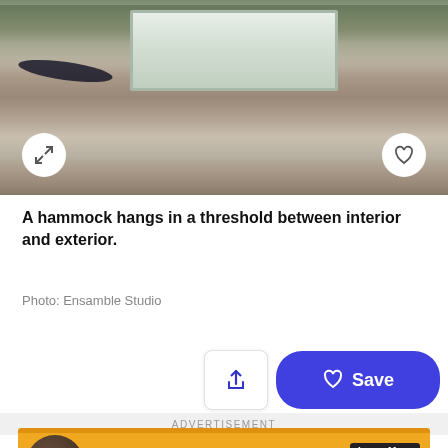[Figure (photo): Interior stone room with hammock hanging in a threshold/window opening; a rectangular window shows greenery outside; stone steps/benches inside; expand and favorite buttons overlaid on photo]
A hammock hangs in a threshold between interior and exterior.
Photo: Ensamble Studio
[Figure (screenshot): Action bar with share/upload icon button and blue Save button with heart icon]
ADVERTISEMENT
[Figure (infographic): Advertisement banner for 'level' smart lock. Orange background with circular lock image on left. Text: 'level - The Magic's Inside'. Button: 'Learn More - The Invisible Smart Lock']